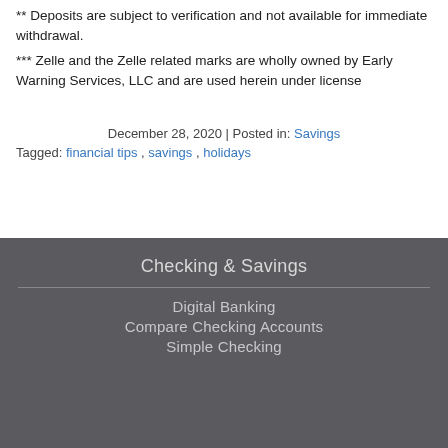** Deposits are subject to verification and not available for immediate withdrawal.
*** Zelle and the Zelle related marks are wholly owned by Early Warning Services, LLC and are used herein under license
December 28, 2020 | Posted in: Savings
Tagged: financial tips , savings , holidays
Checking & Savings
Digital Banking
Compare Checking Accounts
Simple Checking